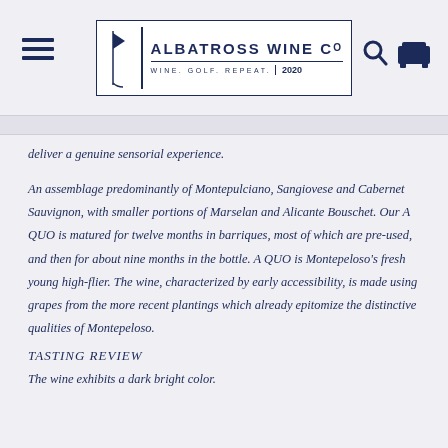ALBATROSS WINE CO · WINE. GOLF. REPEAT. · 2020
deliver a genuine sensorial experience.
An assemblage predominantly of Montepulciano, Sangiovese and Cabernet Sauvignon, with smaller portions of Marselan and Alicante Bouschet. Our A QUO is matured for twelve months in barriques, most of which are pre-used, and then for about nine months in the bottle. A QUO is Montepeloso's fresh young high-flier. The wine, characterized by early accessibility, is made using grapes from the more recent plantings which already epitomize the distinctive qualities of Montepeloso.
TASTING REVIEW
The wine exhibits a dark bright color.